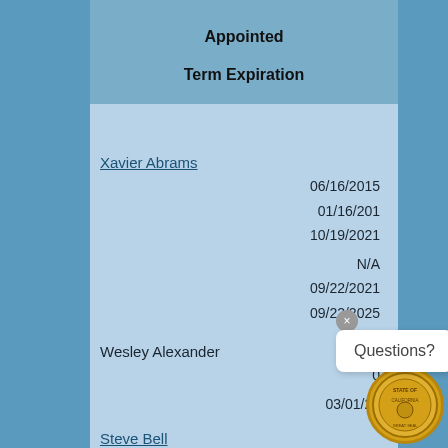| Appointed | Term Expiration |
| --- | --- |
| Xavier Abrams | 06/16/2015 |
|  | 01/16/201 |
|  | 10/19/2021 |
|  | N/A |
|  | 09/22/2021 |
|  | 09/22/2025 |
| Wesley Alexander | 0... |
|  | 03/01/20... |
| Steve Bell |  |